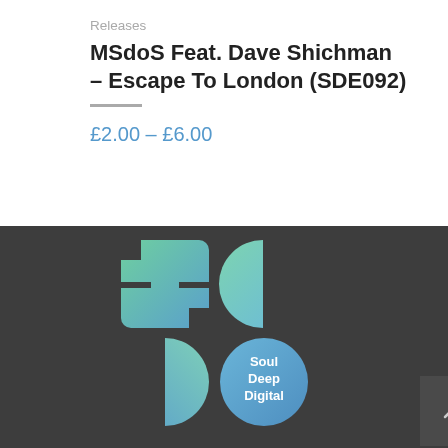Releases
MSdoS Feat. Dave Shichman – Escape To London (SDE092)
£2.00 – £6.00
[Figure (logo): Soul Deep Digital logo — stylized SD letters in green-to-blue gradient squares and circle, with 'Soul Deep Digital' text in white on a blue circle, on a dark grey background]